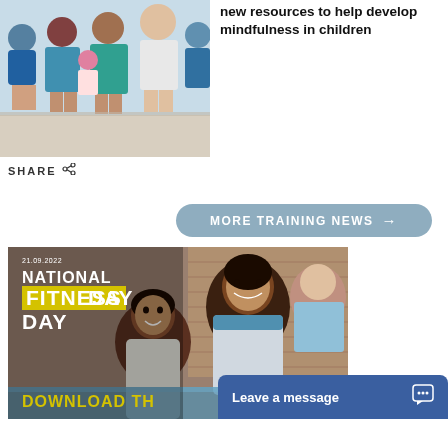[Figure (photo): Group of children in swimming gear (caps, goggles, towels) sitting poolside with a smiling adult coach]
new resources to help develop mindfulness in children
SHARE
MORE TRAINING NEWS →
[Figure (photo): National Fitness Day promotional image dated 21.09.2022, showing two women smiling near a pool, with text overlay: NATIONAL FITNESS DAY and DOWNLOAD TH... in yellow. A Leave a message chat widget is overlaid.]